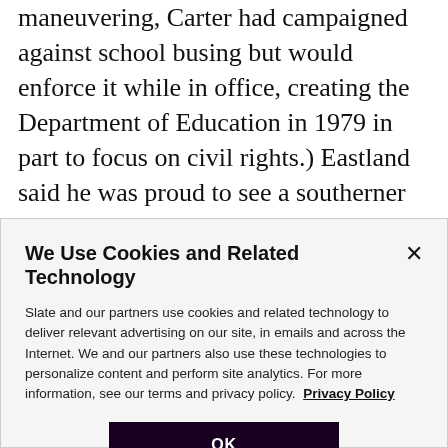maneuvering, Carter had campaigned against school busing but would enforce it while in office, creating the Department of Education in 1979 in part to focus on civil rights.) Eastland said he was proud to see a southerner in the White House and intended to do whatever he could to make Carter's presidency a success. If that included allowing the new president to put some nontraditional judges on the bench, so be it.
We Use Cookies and Related Technology
Slate and our partners use cookies and related technology to deliver relevant advertising on our site, in emails and across the Internet. We and our partners also use these technologies to personalize content and perform site analytics. For more information, see our terms and privacy policy.  Privacy Policy
OK